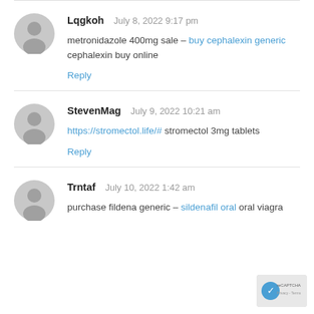Lqgkoh  July 8, 2022 9:17 pm
metronidazole 400mg sale – buy cephalexin generic cephalexin buy online
Reply
StevenMag  July 9, 2022 10:21 am
https://stromectol.life/# stromectol 3mg tablets
Reply
Trntaf  July 10, 2022 1:42 am
purchase fildena generic – sildenafil oral oral viagra